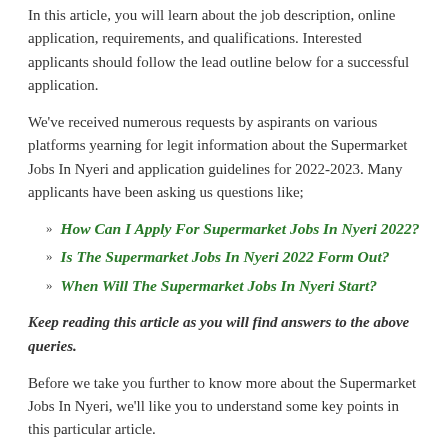In this article, you will learn about the job description, online application, requirements, and qualifications. Interested applicants should follow the lead outline below for a successful application.
We've received numerous requests by aspirants on various platforms yearning for legit information about the Supermarket Jobs In Nyeri and application guidelines for 2022-2023. Many applicants have been asking us questions like;
How Can I Apply For Supermarket Jobs In Nyeri 2022?
Is The Supermarket Jobs In Nyeri 2022 Form Out?
When Will The Supermarket Jobs In Nyeri Start?
Keep reading this article as you will find answers to the above queries.
Before we take you further to know more about the Supermarket Jobs In Nyeri, we'll like you to understand some key points in this particular article.